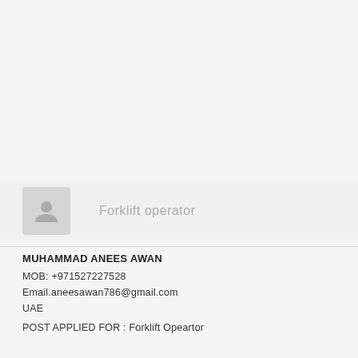[Figure (photo): Generic user avatar placeholder icon in a rounded square box]
Forklift operator
MUHAMMAD ANEES AWAN
MOB: +971527227528
Email.aneesawan786@gmail.com
UAE
POST APPLIED FOR : Forklift Opeartor